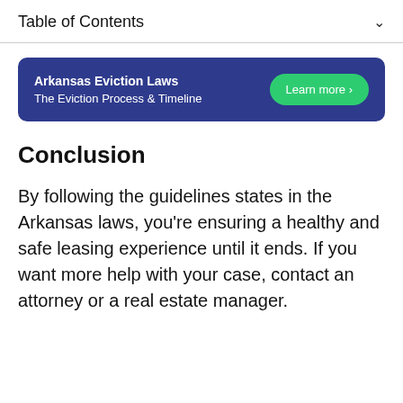Table of Contents
[Figure (infographic): Blue banner ad for Arkansas Eviction Laws - The Eviction Process & Timeline with a green Learn more button]
Conclusion
By following the guidelines states in the Arkansas laws, you're ensuring a healthy and safe leasing experience until it ends. If you want more help with your case, contact an attorney or a real estate manager.